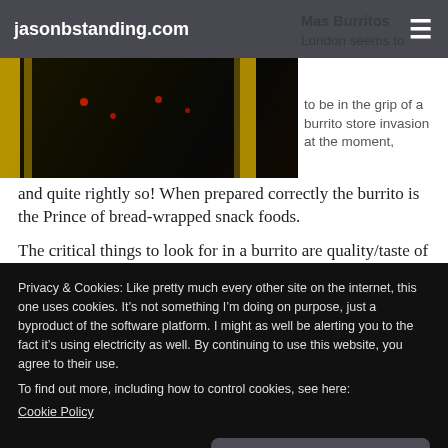jasonbstanding.com
[Figure (photo): Dark interior restaurant photo with yellow curtains and red lights visible]
Mas Burritos London seems to be in the grip of a burrito store invasion at the moment, and quite rightly so! When prepared correctly the burrito is the Prince of bread-wrapped snack foods.
The critical things to look for in a burrito are quality/taste of ingredients, and “slop factor”: Mas Burritos does a
Privacy & Cookies: Like pretty much every other site on the internet, this one uses cookies. It’s not something I’m doing on purpose, just a byproduct of the software platform. I might as well be alerting you to the fact it’s using electricity as well. By continuing to use this website, you agree to their use.
To find out more, including how to control cookies, see here: Cookie Policy
Yawn, close and accept
the store, and arguably far from ideal when you are creating